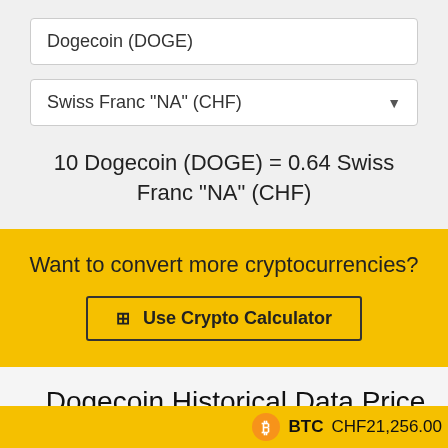Dogecoin (DOGE)
Swiss Franc "NA" (CHF)
10 Dogecoin (DOGE) = 0.64 Swiss Franc "NA" (CHF)
Want to convert more cryptocurrencies?
Use Crypto Calculator
Dogecoin Historical Data Price Chart
BTC CHF21,256.00